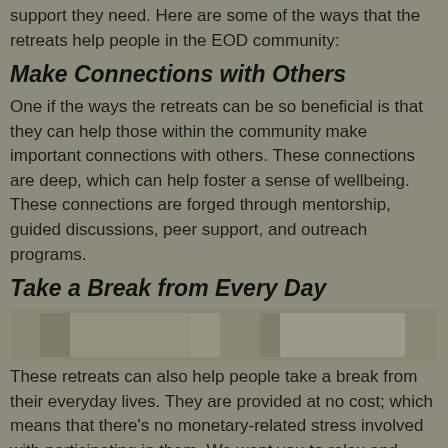support they need. Here are some of the ways that the retreats help people in the EOD community:
Make Connections with Others
One if the ways the retreats can be so beneficial is that they can help those within the community make important connections with others. These connections are deep, which can help foster a sense of wellbeing. These connections are forged through mentorship, guided discussions, peer support, and outreach programs.
Take a Break from Every Day
[Figure (photo): Two overlapping photo thumbnails on a textured background]
These retreats can also help people take a break from their everyday lives. They are provided at no cost; which means that there's no monetary-related stress involved with participating in them. We want you to relax and immerse yourself in the experience so that you can focus on your wellbeing, health, and